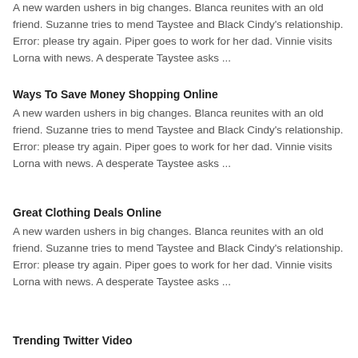A new warden ushers in big changes. Blanca reunites with an old friend. Suzanne tries to mend Taystee and Black Cindy's relationship. Error: please try again. Piper goes to work for her dad. Vinnie visits Lorna with news. A desperate Taystee asks ...
Ways To Save Money Shopping Online
A new warden ushers in big changes. Blanca reunites with an old friend. Suzanne tries to mend Taystee and Black Cindy's relationship. Error: please try again. Piper goes to work for her dad. Vinnie visits Lorna with news. A desperate Taystee asks ...
Great Clothing Deals Online
A new warden ushers in big changes. Blanca reunites with an old friend. Suzanne tries to mend Taystee and Black Cindy's relationship. Error: please try again. Piper goes to work for her dad. Vinnie visits Lorna with news. A desperate Taystee asks ...
Trending Twitter Video